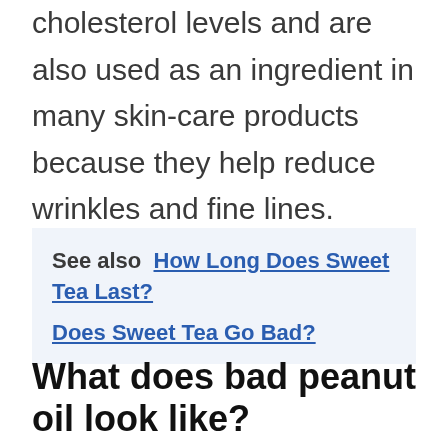cholesterol levels and are also used as an ingredient in many skin-care products because they help reduce wrinkles and fine lines.
See also  How Long Does Sweet Tea Last? Does Sweet Tea Go Bad?
What does bad peanut oil look like?